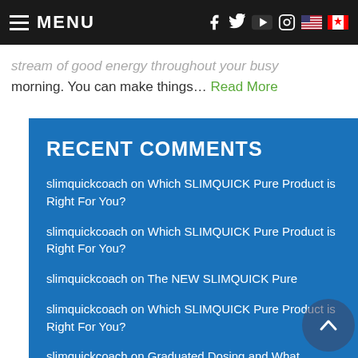MENU
stream of good energy throughout your busy morning. You can make things… Read More
RECENT COMMENTS
slimquickcoach on Which SLIMQUICK Pure Product is Right For You?
slimquickcoach on Which SLIMQUICK Pure Product is Right For You?
slimquickcoach on The NEW SLIMQUICK Pure
slimquickcoach on Which SLIMQUICK Pure Product is Right For You?
slimquickcoach on Graduated Dosing and What